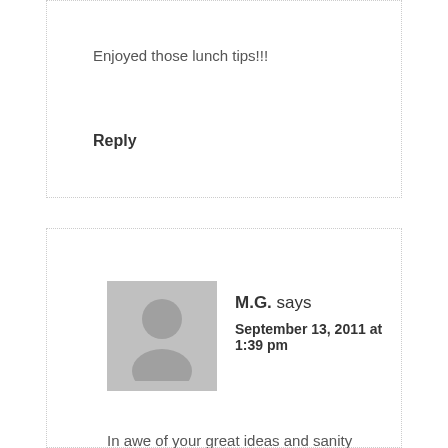Enjoyed those lunch tips!!!
Reply
M.G. says
September 13, 2011 at 1:39 pm
In awe of your great ideas and sanity savers! Wondering what you use to keep the cold foods cold?